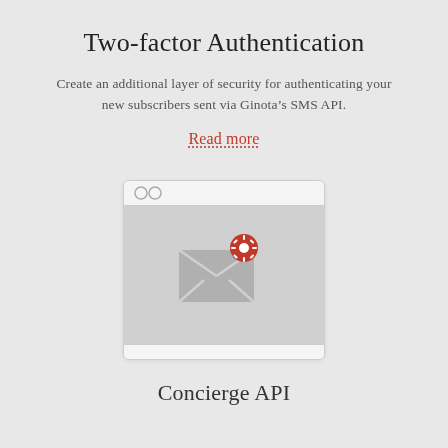Two-factor Authentication
Create an additional layer of security for authenticating your new subscribers sent via Ginota’s SMS API.
Read more
[Figure (illustration): Browser window illustration showing an envelope icon with a red settings/gear badge in the upper right corner, on a grey background]
Concierge API